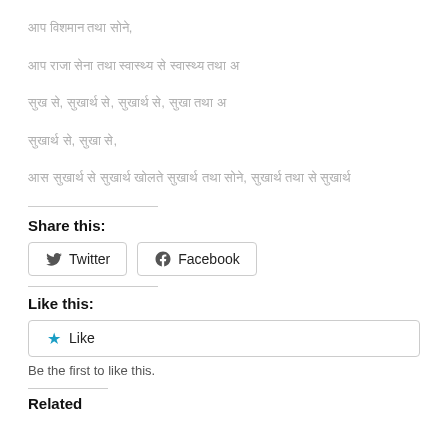[Hindi/Devanagari text line 1]
[Hindi/Devanagari text line 2]
[Hindi/Devanagari text line 3]
[Hindi/Devanagari text line 4]
[Hindi/Devanagari text line 5]
Share this:
Twitter  Facebook
Like this:
Like
Be the first to like this.
Related